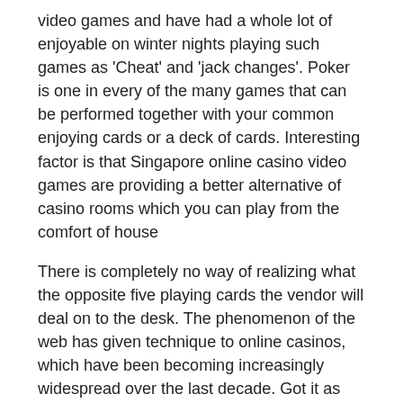video games and have had a whole lot of enjoyable on winter nights playing such games as 'Cheat' and 'jack changes'. Poker is one in every of the many games that can be performed together with your common enjoying cards or a deck of cards. Interesting factor is that Singapore online casino video games are providing a better alternative of casino rooms which you can play from the comfort of house
There is completely no way of realizing what the opposite five playing cards the vendor will deal on to the desk. The phenomenon of the web has given technique to online casinos, which have been becoming increasingly widespread over the last decade. Got it as much as over 400,000 betting 5000 points. To get a special bonus , I acquired all the yellow circles entitling me for. You will get two completely different lower values (Ex: a three and a 6). As a common rule no card might be thought-about ‘ineffective’ until all of the five cards are dealt on the table. You’ll be able to look at your playing cards as soon as you obtain them, as a result of it’s important to make some analysis and selections before the supplier unfolds the Flop. It is at all times higher to look for casinos having a recognizable brand name. In the case of a brick and mortar establishment, a majority of gamers will search for a game that’s located in proximity
The multiplicity of e-casino web sites has absolutely put many